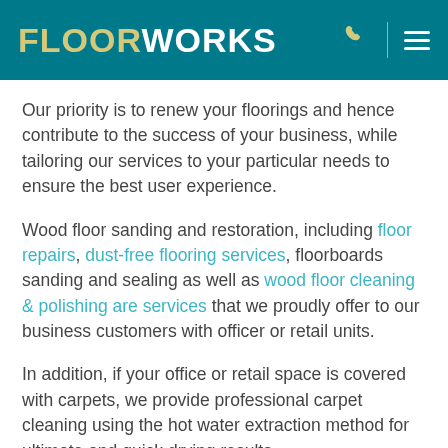FLOORWORKS
Our priority is to renew your floorings and hence contribute to the success of your business, while tailoring our services to your particular needs to ensure the best user experience.
Wood floor sanding and restoration, including floor repairs, dust-free flooring services, floorboards sanding and sealing as well as wood floor cleaning & polishing are services that we proudly offer to our business customers with officer or retail units.
In addition, if your office or retail space is covered with carpets, we provide professional carpet cleaning using the hot water extraction method for ultimate and quick drying results.